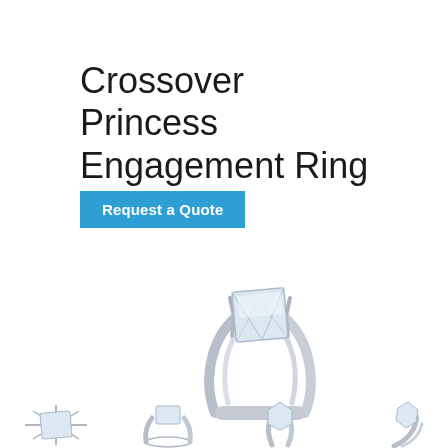Crossover Princess Engagement Ring
Request a Quote
[Figure (photo): A silver crossover princess cut engagement ring with a square diamond on a white background, shown at an angle. Three small thumbnail views of the same ring below.]